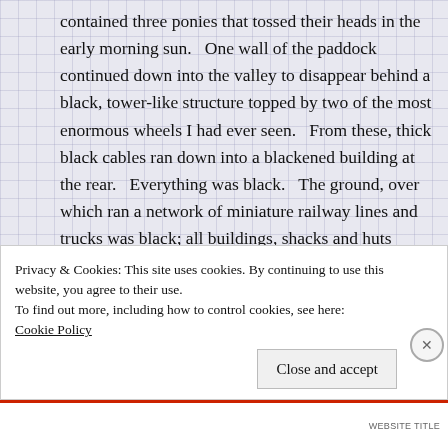contained three ponies that tossed their heads in the early morning sun.   One wall of the paddock continued down into the valley to disappear behind a black, tower-like structure topped by two of the most enormous wheels I had ever seen.   From these, thick black cables ran down into a blackened building at the rear.   Everything was black.   The ground, over which ran a network of miniature railway lines and trucks was black; all buildings, shacks and huts dotted about were black; blackness was heaped everywhere.
Privacy & Cookies: This site uses cookies. By continuing to use this website, you agree to their use.
To find out more, including how to control cookies, see here:
Cookie Policy
Close and accept